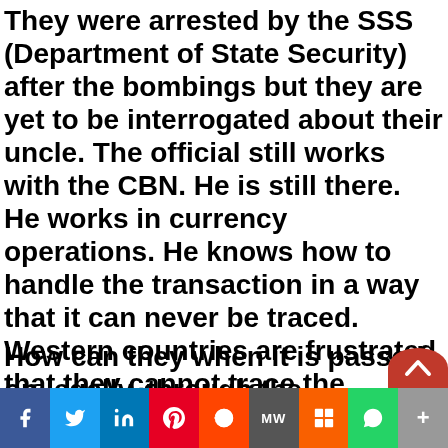They were arrested by the SSS (Department of State Security) after the bombings but they are yet to be interrogated about their uncle. The official still works with the CBN. He is still there. He works in currency operations. He knows how to handle the transaction in a way that it can never be traced. Western countries are frustrated that they cannot trace the funding.
How can they when it is passed on legally, through the gatekeeper, through the CBN?